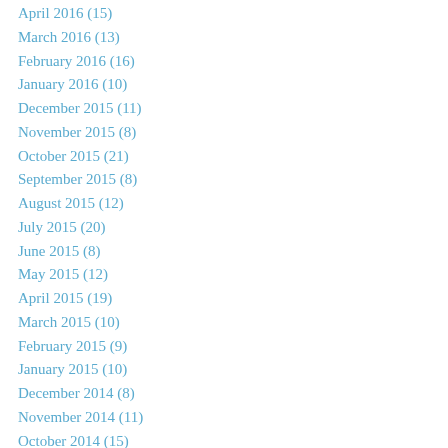April 2016 (15)
March 2016 (13)
February 2016 (16)
January 2016 (10)
December 2015 (11)
November 2015 (8)
October 2015 (21)
September 2015 (8)
August 2015 (12)
July 2015 (20)
June 2015 (8)
May 2015 (12)
April 2015 (19)
March 2015 (10)
February 2015 (9)
January 2015 (10)
December 2014 (8)
November 2014 (11)
October 2014 (15)
September 2014 (11)